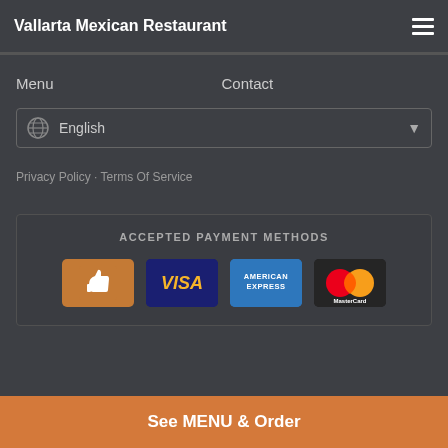Vallarta Mexican Restaurant
Menu
Contact
English
Privacy Policy · Terms Of Service
ACCEPTED PAYMENT METHODS
[Figure (other): Payment method icons: Cash (thumbs up), Visa, American Express, MasterCard]
See MENU & Order